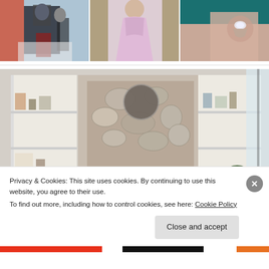[Figure (photo): Three social media photos side by side: skiing couple, woman in pink dress, engagement ring on hand]
[Figure (photo): Living room interior with stone fireplace, white bookshelves, TV, and plant]
Privacy & Cookies: This site uses cookies. By continuing to use this website, you agree to their use.
To find out more, including how to control cookies, see here: Cookie Policy
Close and accept